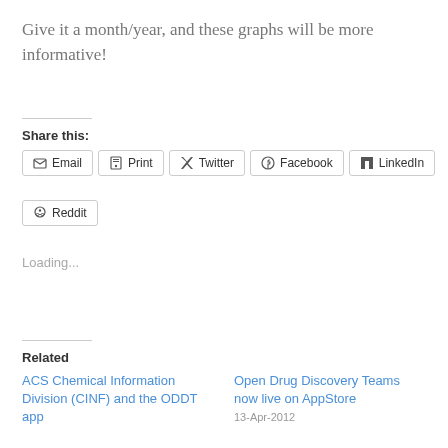Give it a month/year, and these graphs will be more informative!
Share this:
Email | Print | Twitter | Facebook | LinkedIn | Reddit
Loading...
Related
ACS Chemical Information Division (CINF) and the ODDT app
Open Drug Discovery Teams now live on AppStore
13-Apr-2012